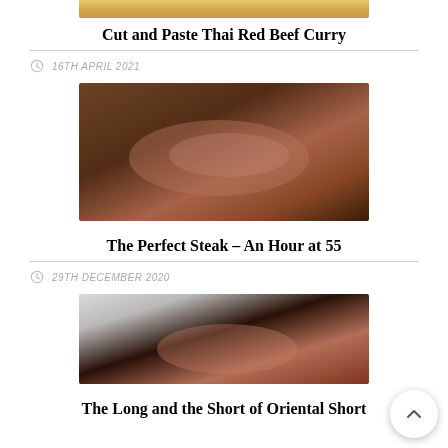[Figure (photo): Partial top of a Thai red beef curry dish image, cropped at top of page]
Cut and Paste Thai Red Beef Curry
16TH APRIL 2021
[Figure (photo): Sliced grilled steak with pepper crust on a wooden board, pink interior showing]
The Perfect Steak – An Hour at 55
29TH DECEMBER 2020
[Figure (photo): Sliced roast beef with dark crust on a white plate with sauce, fork visible]
The Long and the Short of Oriental Short